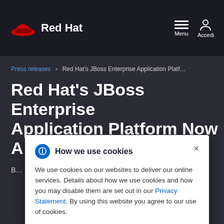Red Hat | Menu | Accedi
Press releases > Red Hat's JBoss Enterprise Application Platf...
Red Hat's JBoss Enterprise Application Platform Now A...
B... platform is the fi... e on Amazon E...
How we use cookies

We use cookies on our websites to deliver our online services. Details about how we use cookies and how you may disable them are set out in our Privacy Statement. By using this website you agree to our use of cookies.